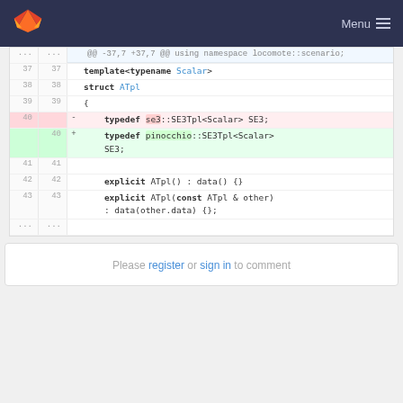GitLab Menu
[Figure (screenshot): GitLab diff view showing code changes in a C++ file. Lines 37-43 visible with a typedef change from se3::SE3Tpl<Scalar> SE3 to pinocchio::SE3Tpl<Scalar> SE3.]
Please register or sign in to comment